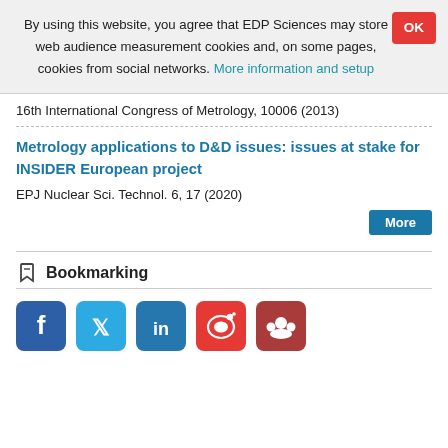By using this website, you agree that EDP Sciences may store web audience measurement cookies and, on some pages, cookies from social networks. More information and setup
16th International Congress of Metrology, 10006 (2013)
Metrology applications to D&D issues: issues at stake for INSIDER European project
EPJ Nuclear Sci. Technol. 6, 17 (2020)
Bookmarking
[Figure (other): Social media sharing icons: Facebook (blue), Twitter (light blue), LinkedIn (blue), Weibo (red), Mendeley (dark red)]